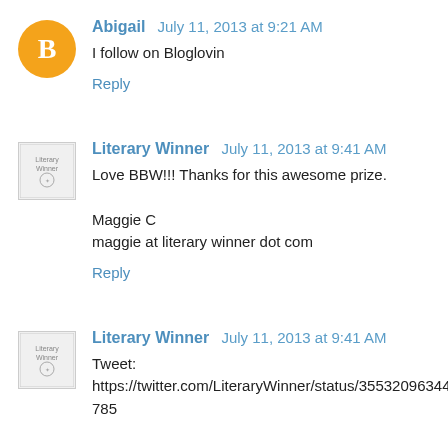Abigail  July 11, 2013 at 9:21 AM
I follow on Bloglovin
Reply
Literary Winner  July 11, 2013 at 9:41 AM
Love BBW!!! Thanks for this awesome prize.

Maggie C
maggie at literary winner dot com
Reply
Literary Winner  July 11, 2013 at 9:41 AM
Tweet:
https://twitter.com/LiteraryWinner/status/355320963442806785

maggie at literary winner dot com